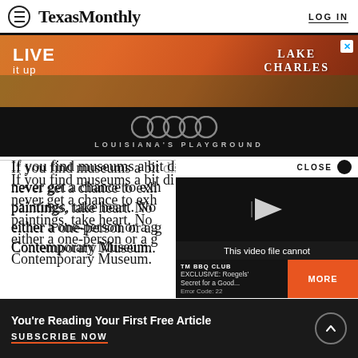TexasMonthly  LOG IN
[Figure (advertisement): Lake Charles Louisiana's Playground advertisement banner with orange sunset background showing people at outdoor event, with LIVE it up text and Lake Charles logo below on black background]
If you find museums a bit discouraging because they never get a chance to exhibit most of their paintings, take heart. No... either a one-person or a g... Contemporary Museum.
[Figure (screenshot): Video overlay popup with CLOSE button showing TM BBQ CLUB EXCLUSIVE: Roegels' Secret for a Good... video that cannot be played, Error Code: 22, with MORE button in orange]
You're Reading Your First Free Article
SUBSCRIBE NOW